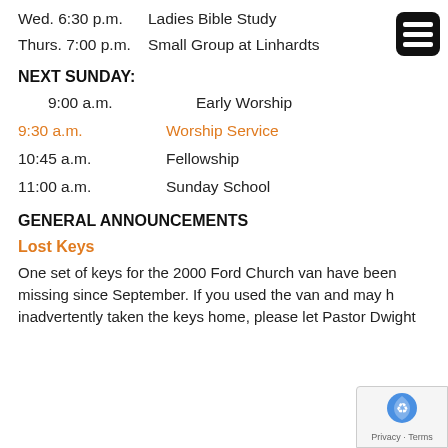Wed. 6:30 p.m.    Ladies Bible Study
Thurs. 7:00 p.m.    Small Group at Linhardts
NEXT SUNDAY:
9:00 a.m.    Early Worship
9:30 a.m.    Worship Service
10:45 a.m.    Fellowship
11:00 a.m.    Sunday School
GENERAL ANNOUNCEMENTS
Lost Keys
One set of keys for the 2000 Ford Church van have been missing since September. If you used the van and may have inadvertently taken the keys home, please let Pastor Dwight